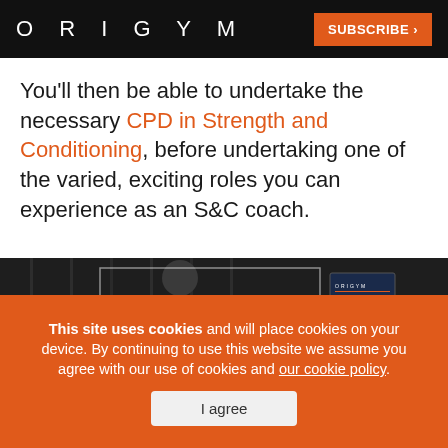ORIGYM | SUBSCRIBE >
You’ll then be able to undertake the necessary CPD in Strength and Conditioning, before undertaking one of the varied, exciting roles you can experience as an S&C coach.
[Figure (photo): Dark background image of a person with an OriGym magazine/book visible in the foreground]
This site uses cookies and will place cookies on your device. By continuing to use this website we assume you agree with our use of cookies and our cookie policy.